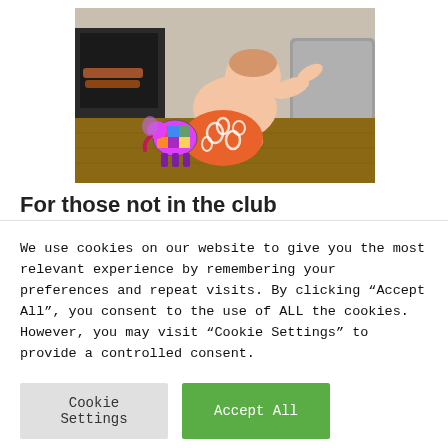[Figure (photo): A baby wearing an orange patterned cloth diaper crawls on a wooden floor toward a grey sofa. A colorful patchwork elephant toy is beside the baby. A fireplace is visible in the background.]
For those not in the club
We use cookies on our website to give you the most relevant experience by remembering your preferences and repeat visits. By clicking "Accept All", you consent to the use of ALL the cookies. However, you may visit "Cookie Settings" to provide a controlled consent.